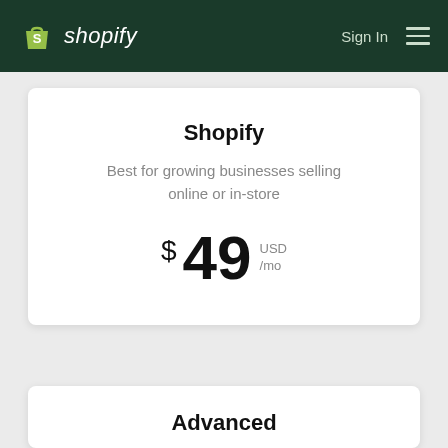shopify   Sign In
Shopify
Best for growing businesses selling online or in-store
$49 USD /mo
Advanced